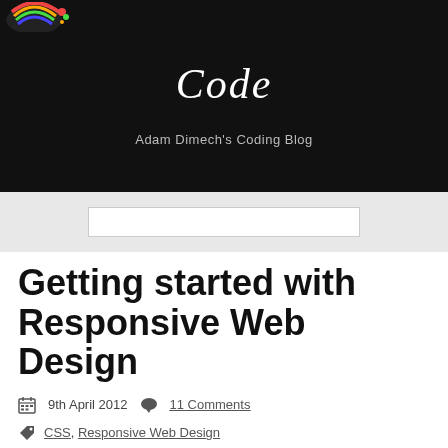Code — Adam Dimech's Coding Blog
Getting started with Responsive Web Design
9th April 2012  11 Comments
CSS, Responsive Web Design